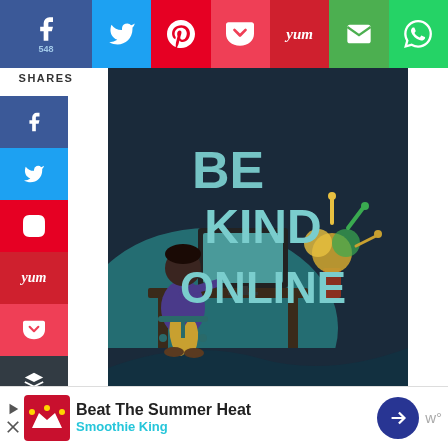[Figure (screenshot): Social sharing top bar with Facebook (548 shares), Twitter, Pinterest, Pocket, Yummly, Email, WhatsApp buttons]
SHARES
[Figure (screenshot): Side social share bar with Facebook, Twitter, Pinterest, Yummly, Pocket, Buffer, Telegram, Email icons]
[Figure (illustration): Illustration of person sitting at desk with text BE KIND ONLINE on dark background]
my windows are really dirty (after, say, llen season – or because I couldn't be thered all year…), then I'll pre-clean with gular microfiber cloth before using th ecial window cloth. ALCLEAR offe riety of products for different uses such as
[Figure (screenshot): WHAT'S NEXT card: Simple freezer tips to save....]
[Figure (screenshot): Bottom advertisement: Beat The Summer Heat - Smoothie King]